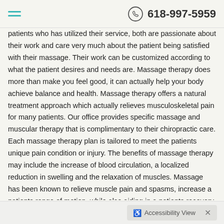618-997-5959
patients who has utilized their service, both are passionate about their work and care very much about the patient being satisfied with their massage. Their work can be customized according to what the patient desires and needs are. Massage therapy does more than make you feel good, it can actually help your body achieve balance and health. Massage therapy offers a natural treatment approach which actually relieves musculoskeletal pain for many patients. Our office provides specific massage and muscular therapy that is complimentary to their chiropractic care. Each massage therapy plan is tailored to meet the patients unique pain condition or injury. The benefits of massage therapy may include the increase of blood circulation, a localized reduction in swelling and the relaxation of muscles. Massage has been known to relieve muscle pain and spasms, increase a patients range of motion, while also aiding in a patients recovery. Some investigative studies have even indicated that a single session of massage may help boost your immune system!
Accessibility View